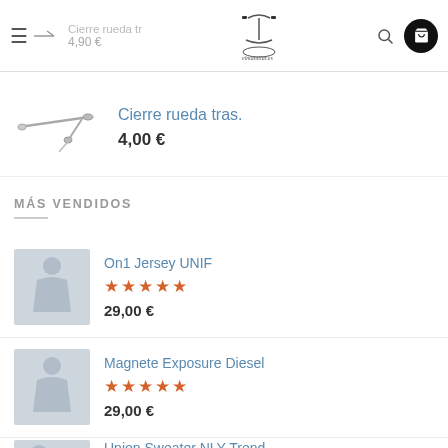Cierre rueda tr 4,90 € elmanillar.es
Cierre rueda tras. 4,00 €
MÁS VENDIDOS
On1 Jersey UNIF ★★★★★ 29,00 €
Magnete Exposure Diesel ★★★★★ 29,00 €
Union Sweater NLY Trend